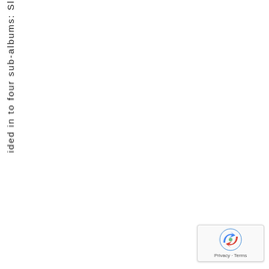ided in to four sub-albums: Sl
[Figure (logo): Google reCAPTCHA badge with recycling-arrow logo and Privacy - Terms text]